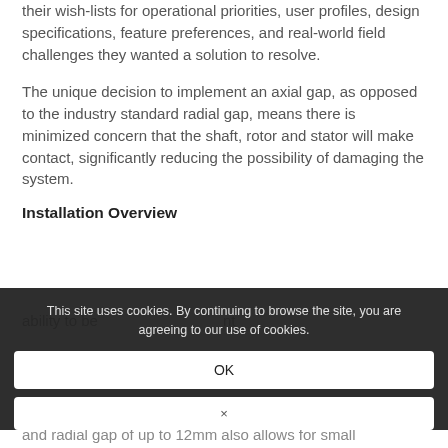their wish-lists for operational priorities, user profiles, design specifications, feature preferences, and real-world field challenges they wanted a solution to resolve.
The unique decision to implement an axial gap, as opposed to the industry standard radial gap, means there is minimized concern that the shaft, rotor and stator will make contact, significantly reducing the possibility of damaging the system.
Installation Overview
ability to be ... nt
and radial gap of up to 12mm also allows for small